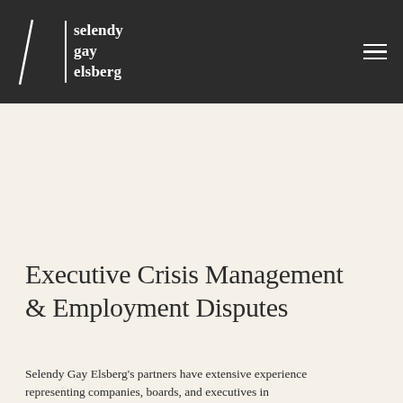[Figure (logo): Selendy Gay Elsberg law firm logo in white text on dark background]
[Figure (photo): Person walking across a suspended bridge or walkway with horizontal rails, image in blue-gray tones, silhouette of figure in motion]
Executive Crisis Management & Employment Disputes
Selendy Gay Elsberg's partners have extensive experience representing companies, boards, and executives in